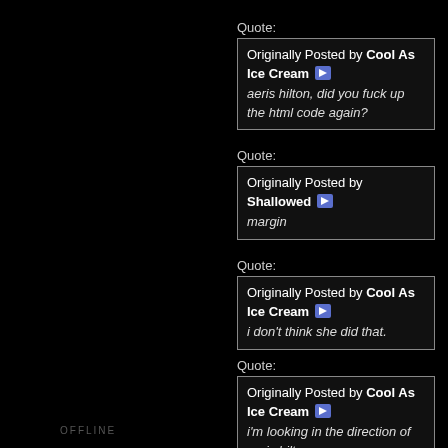Quote:
Originally Posted by Cool As Ice Cream
aeries hilton, did you fuck up the html code again?
Quote:
Originally Posted by Shallowed
margin
Quote:
Originally Posted by Cool As Ice Cream
i don't think she did that.
Quote:
Originally Posted by Cool As Ice Cream
i'm looking in the direction of aeris hilton.
OFFLINE